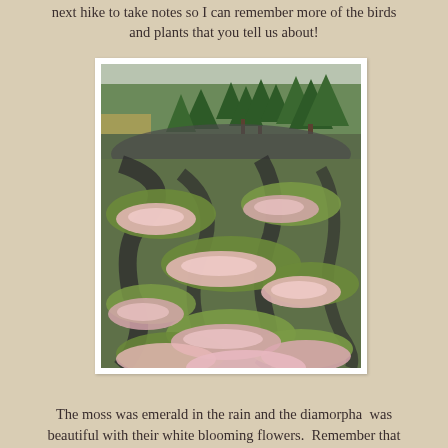next hike to take notes so I can remember more of the birds and plants that you tell us about!
[Figure (photo): A rocky hillside or outcrop covered with green moss and pink-white diamorpha (sedum) flowering plants spreading across dark wet rocks, with pine trees visible in the background under an overcast sky.]
The moss was emerald in the rain and the diamorpha  was beautiful with their white blooming flowers.  Remember that